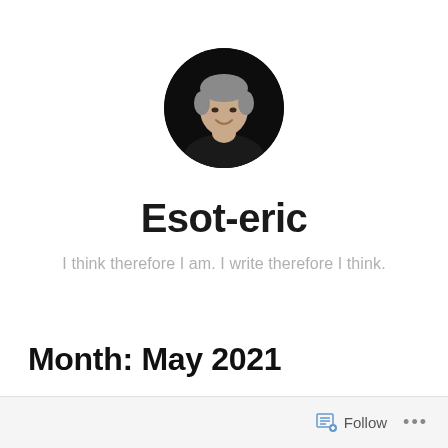[Figure (photo): Circular avatar photo of a middle-aged man with grey hair, smiling, wearing dark clothing against a dark background]
Esot-eric
I think therefore I am. I write therefore I think.
Month: May 2021
Follow ...